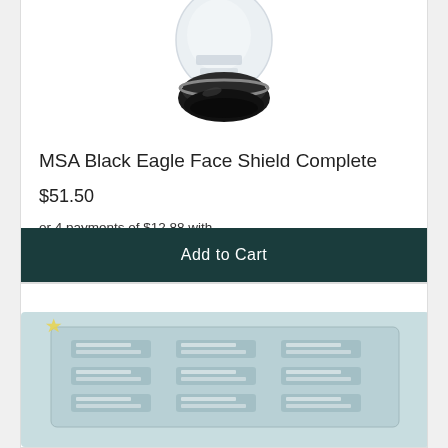[Figure (photo): MSA Black Eagle Face Shield product image - top portion of face shield visible]
MSA Black Eagle Face Shield Complete
$51.50
or 4 payments of $12.88 with afterpay Info
Add to Cart
[Figure (photo): Second product image - appears to be a gasket or safety product with blue/teal coloring and repeated logo markings]